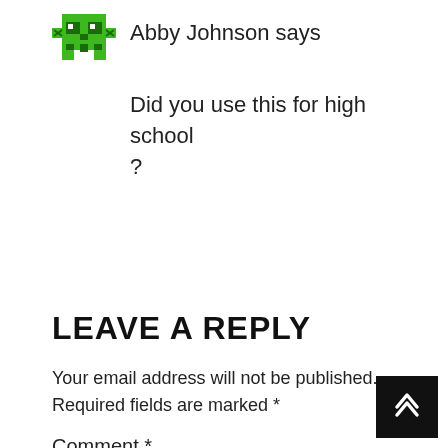Abby Johnson says
Did you use this for high school ?
LEAVE A REPLY
Your email address will not be published. Required fields are marked *
Comment *
[Figure (illustration): Green pixel-art skull/monster avatar icon]